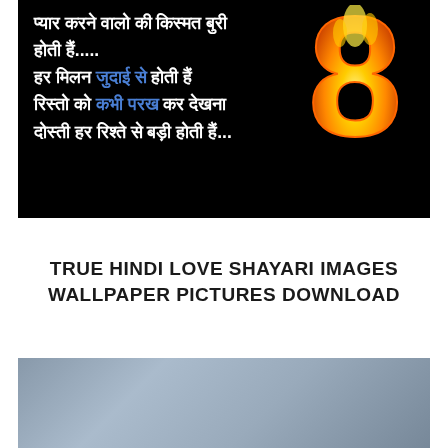[Figure (illustration): Black background image with white Hindi text and a flaming number 8 graphic. Text reads: प्यार करने वालो की किस्मत बुरी होती हैं..... हर मिलन जुदाई से होती हैं रिस्तो को कभी परख कर देखना दोस्ती हर रिश्ते से बड़ी होती हैं...]
TRUE HINDI LOVE SHAYARI IMAGES WALLPAPER PICTURES DOWNLOAD
[Figure (photo): Partial blurry photo visible at the bottom of the page with muted blue-gray tones]